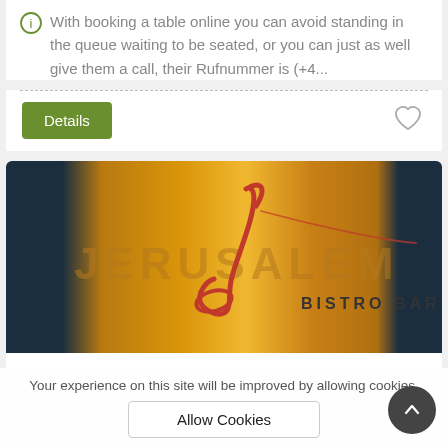With booking a table online you can avoid standing in the queue waiting to be seated, or you can just as well give them a call, their Rufnummer is (+4...
Details
[Figure (photo): Jerusalem Bistro Bar logo on a golden/amber background with dark blue side panels. Features a stylized red 'J' script logo over the word JERUSALEM in large letters and BISTRO BAR below.]
Your experience on this site will be improved by allowing cookies.
Allow Cookies